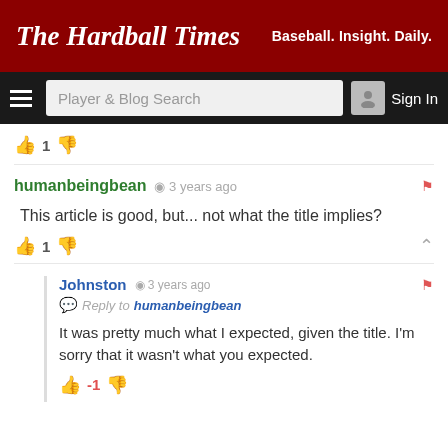The Hardball Times — Baseball. Insight. Daily.
[Figure (screenshot): Navigation bar with hamburger menu, Player & Blog Search input, and Sign In button]
👍 1 👎
humanbeingbean · 3 years ago
This article is good, but... not what the title implies?
👍 1 👎
Johnston · 3 years ago
Reply to humanbeingbean
It was pretty much what I expected, given the title. I'm sorry that it wasn't what you expected.
👍 -1 👎